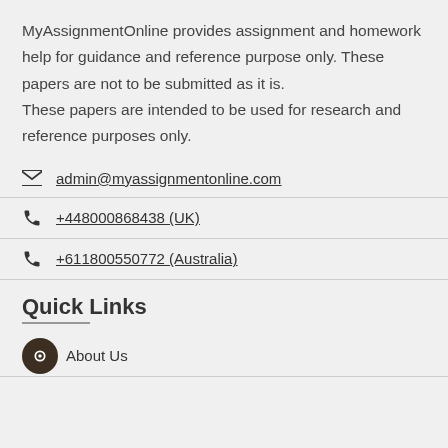MyAssignmentOnline provides assignment and homework help for guidance and reference purpose only. These papers are not to be submitted as it is. These papers are intended to be used for research and reference purposes only.
admin@myassignmentonline.com
+448000868438 (UK)
+611800550772 (Australia)
Quick Links
About Us